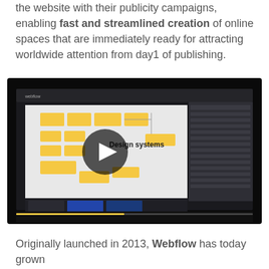the website with their publicity campaigns, enabling fast and streamlined creation of online spaces that are immediately ready for attracting worldwide attention from day1 of publishing.
[Figure (screenshot): A screenshot of a Webflow design systems tutorial video player with a dark background. The center shows a play button overlay on top of a Webflow interface showing a 'Design systems' lesson with yellow UI components arranged on a canvas.]
Originally launched in 2013, Webflow has today grown